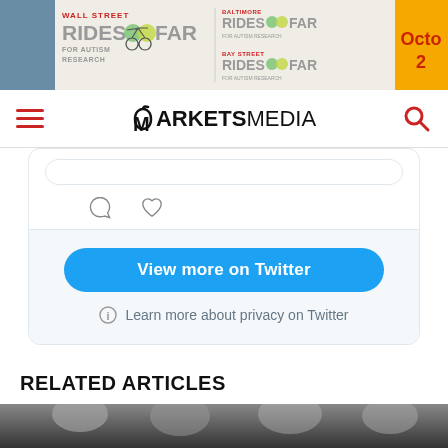[Figure (photo): Banner advertisement for Wall Street Rides Far, Baltimore Rides Far, and Bay Street Rides Far cycling events for Autism Research, with an October date partially visible]
ARKETSMEDIA
[Figure (screenshot): Twitter embed widget showing action icons (comment, like), a 'View more on Twitter' button, and a 'Learn more about privacy on Twitter' link]
RELATED ARTICLES
[Figure (photo): Partial photo of people at the bottom of the page under Related Articles]